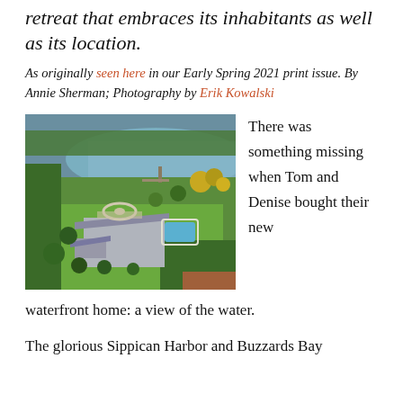retreat that embraces its inhabitants as well as its location.
As originally seen here in our Early Spring 2021 print issue. By Annie Sherman; Photography by Erik Kowalski
[Figure (photo): Aerial photograph of a large waterfront estate with a pool, circular driveway, and manicured green lawns beside a river or bay, surrounded by trees.]
There was something missing when Tom and Denise bought their new waterfront home: a view of the water.
The glorious Sippican Harbor and Buzzards Bay